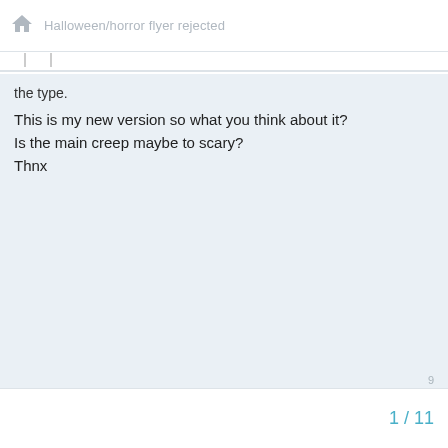Halloween/horror flyer rejected
the type.
This is my new version so what you think about it?
Is the main creep maybe to scary?
Thnx
1 / 11